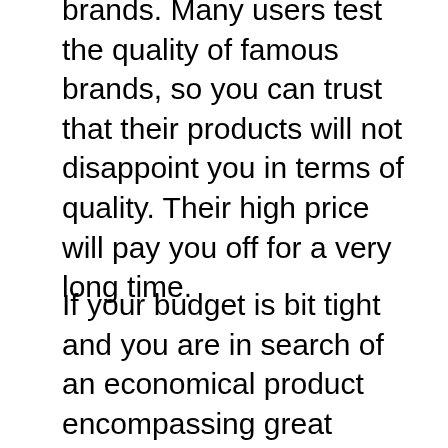brands. Many users test the quality of famous brands, so you can trust that their products will not disappoint you in terms of quality. Their high price will pay you off for a very long time.
If your budget is bit tight and you are in search of an economical product encompassing great features, you can opt for new brands as their prices are comparatively low. But before making a final choice, it is suggested to do comprehensive research on the new brand; you are thinking to shop from, because sometimes products with low prices don't offer good quality. Obviously nobody would desire a product that gets out of order after few days of usage.